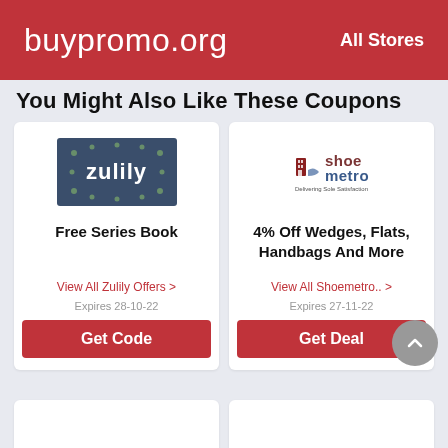buypromo.org   All Stores
You Might Also Like These Coupons
[Figure (logo): Zulily logo - dark blue/navy background with white circular flower/starburst decorative ring and 'zulily' text in white]
Free Series Book
View All Zulily Offers >
Expires 28-10-22
Get Code
[Figure (logo): Shoe Metro logo with red building/shoe icon on left, 'shoe' in dark red and 'metro' in dark blue text, tagline 'Delivering Sole Satisfaction']
4% Off Wedges, Flats, Handbags And More
View All Shoemetro.. >
Expires 27-11-22
Get Deal